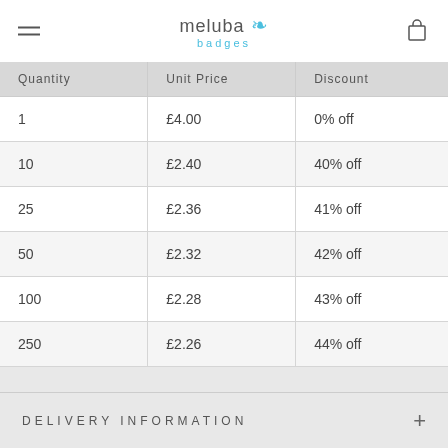meluba badges
| Quantity | Unit Price | Discount |
| --- | --- | --- |
| 1 | £4.00 | 0% off |
| 10 | £2.40 | 40% off |
| 25 | £2.36 | 41% off |
| 50 | £2.32 | 42% off |
| 100 | £2.28 | 43% off |
| 250 | £2.26 | 44% off |
ADD TO CART · £4
DELIVERY INFORMATION